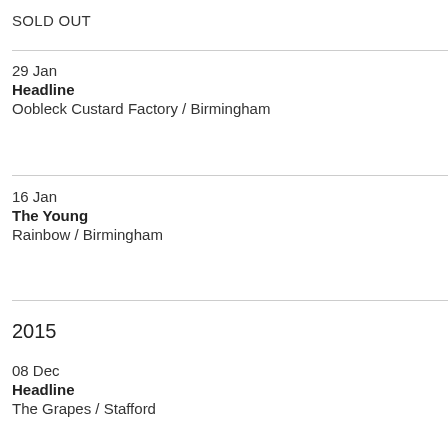SOLD OUT
29 Jan
Headline
Oobleck Custard Factory / Birmingham
16 Jan
The Young
Rainbow / Birmingham
2015
08 Dec
Headline
The Grapes / Stafford